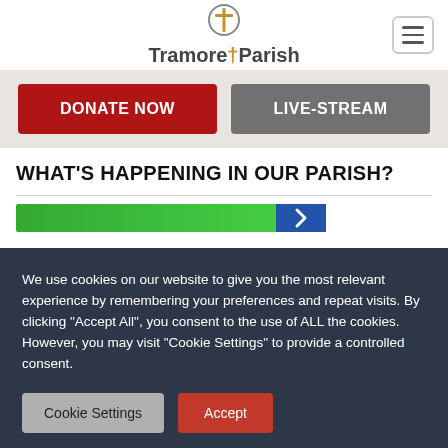[Figure (logo): Tramore Parish logo with cross icon above the text]
[Figure (screenshot): DONATE NOW red button and LIVE-STREAM grey button side by side]
WHAT'S HAPPENING IN OUR PARISH?
[Figure (screenshot): Partial green banner with blue arrow visible at bottom of content area]
We use cookies on our website to give you the most relevant experience by remembering your preferences and repeat visits. By clicking “Accept All”, you consent to the use of ALL the cookies. However, you may visit "Cookie Settings" to provide a controlled consent.
Cookie Settings | Accept